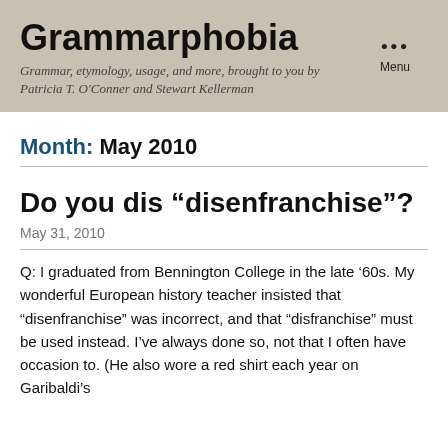Grammarphobia
Grammar, etymology, usage, and more, brought to you by Patricia T. O'Conner and Stewart Kellerman
Month: May 2010
Do you dis “disenfranchise”?
May 31, 2010
Q: I graduated from Bennington College in the late ’60s. My wonderful European history teacher insisted that “disenfranchise” was incorrect, and that “disfranchise” must be used instead. I’ve always done so, not that I often have occasion to. (He also wore a red shirt each year on Garibaldi’s